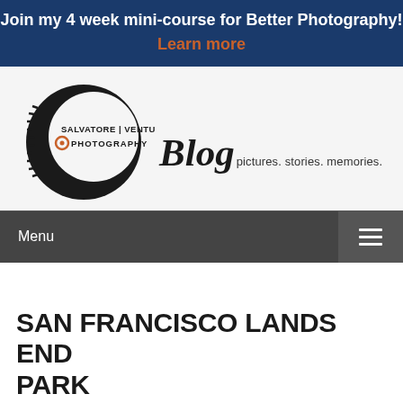Join my 4 week mini-course for Better Photography! Learn more
[Figure (logo): Salvatore Ventura Photography logo — a large black crescent/aperture shape with text 'SALVATORE | VENTURA' and 'PHOTOGRAPHY' with an orange lens icon]
Blog pictures. stories. memories.
Menu
SAN FRANCISCO LANDS END PARK